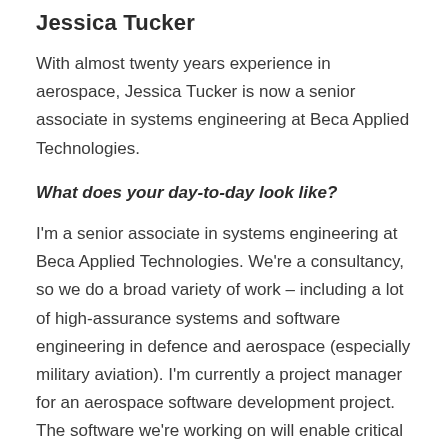Jessica Tucker
With almost twenty years experience in aerospace, Jessica Tucker is now a senior associate in systems engineering at Beca Applied Technologies.
What does your day-to-day look like?
I'm a senior associate in systems engineering at Beca Applied Technologies. We're a consultancy, so we do a broad variety of work – including a lot of high-assurance systems and software engineering in defence and aerospace (especially military aviation). I'm currently a project manager for an aerospace software development project. The software we're working on will enable critical safety features of